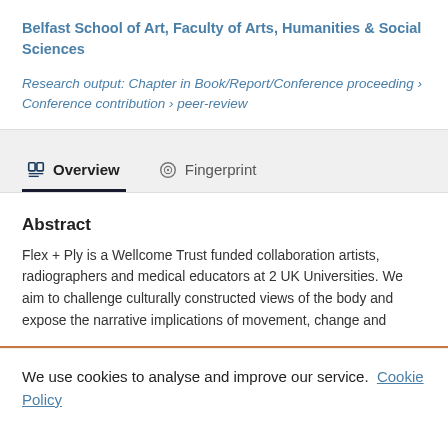Belfast School of Art, Faculty of Arts, Humanities & Social Sciences
Research output: Chapter in Book/Report/Conference proceeding › Conference contribution › peer-review
Overview
Fingerprint
Abstract
Flex + Ply is a Wellcome Trust funded collaboration artists, radiographers and medical educators at 2 UK Universities. We aim to challenge culturally constructed views of the body and expose the narrative implications of movement, change and
We use cookies to analyse and improve our service. Cookie Policy